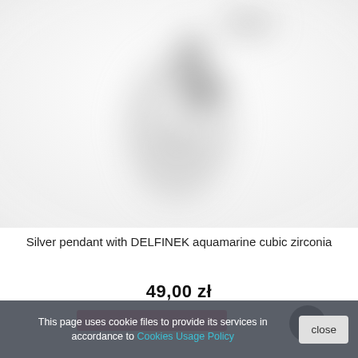[Figure (photo): Blurred product photo of a silver pendant with DELFINEK aquamarine cubic zirconia on white background]
Silver pendant with DELFINEK aquamarine cubic zirconia
49,00 zł
This page uses cookie files to provide its services in accordance to Cookies Usage Policy